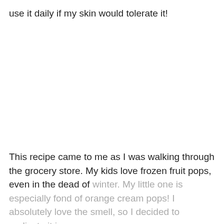use it daily if my skin would tolerate it!
This recipe came to me as I was walking through the grocery store. My kids love frozen fruit pops, even in the dead of winter. My little one is especially fond of orange cream pops! I absolutely love the smell, so I decided to replicate it in a